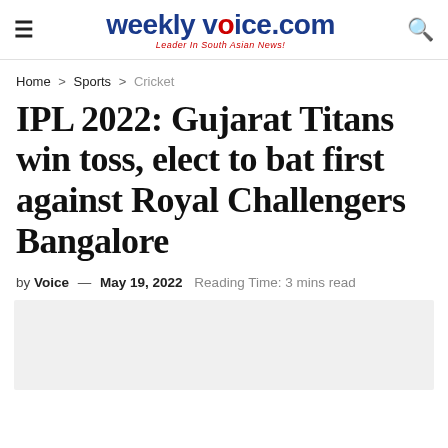weeklyvoice.com — Leader In South Asian News!
Home > Sports > Cricket
IPL 2022: Gujarat Titans win toss, elect to bat first against Royal Challengers Bangalore
by Voice — May 19, 2022  Reading Time: 3 mins read
[Figure (photo): Gray placeholder image area below the article byline]